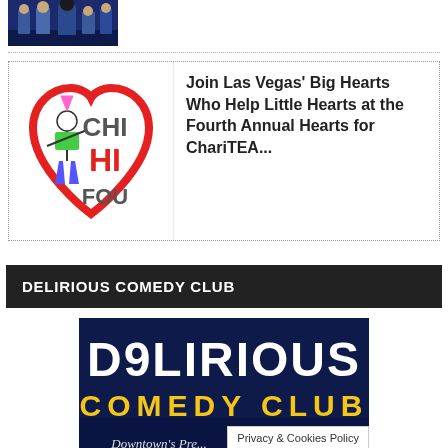[Figure (photo): Top partial image showing performers on a dark blue lit stage]
[Figure (logo): Children's Heart Foundation logo: red heart outline with stick figure child, text CHI HI FOU]
Join Las Vegas' Big Hearts Who Help Little Hearts at the Fourth Annual Hearts for ChariTEA...
DELIRIOUS COMEDY CLUB
[Figure (photo): Delirious Comedy Club promotional image: dark blue background with large white stylized text DELIRIOUS, yellow text COMEDY CLUB, and cursive text Downtown's Pre... with a Privacy & Cookies Policy badge overlay]